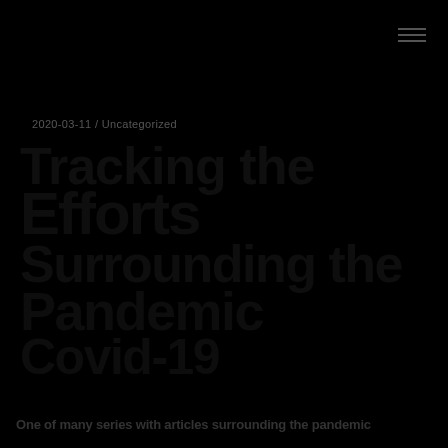☰
2020-03-11 / Uncategorized
Tracking the COVID-19 Efforts Surrounding the Pandemic
One of many series with articles surrounding the pandemic